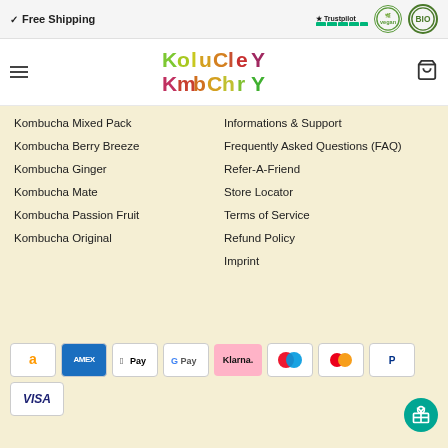✓ Free Shipping | Trustpilot ★★★★★ | Vegan | BIO
[Figure (logo): KoluCley KmbChrY Kombucha brand logo in multicolor rainbow gradient letters]
Kombucha Mixed Pack
Kombucha Berry Breeze
Kombucha Ginger
Kombucha Mate
Kombucha Passion Fruit
Kombucha Original
Informations & Support
Frequently Asked Questions (FAQ)
Refer-A-Friend
Store Locator
Terms of Service
Refund Policy
Imprint
[Figure (infographic): Payment icons: Amazon, AMEX, Apple Pay, G Pay, Klarna, Maestro, Mastercard, PayPal, VISA]